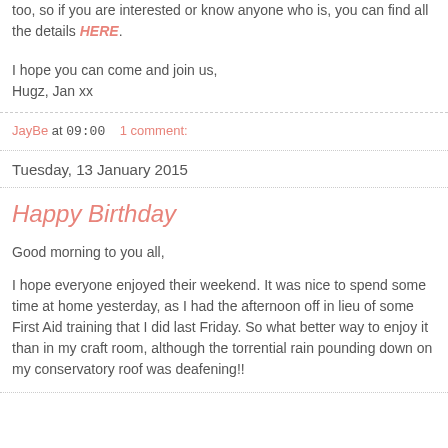too, so if you are interested or know anyone who is, you can find all the details HERE.
I hope you can come and join us,
Hugz, Jan xx
JayBe at 09:00    1 comment:
Tuesday, 13 January 2015
Happy Birthday
Good morning to you all,
I hope everyone enjoyed their weekend. It was nice to spend some time at home yesterday, as I had the afternoon off in lieu of some First Aid training that I did last Friday. So what better way to enjoy it than in my craft room, although the torrential rain pounding down on my conservatory roof was deafening!!